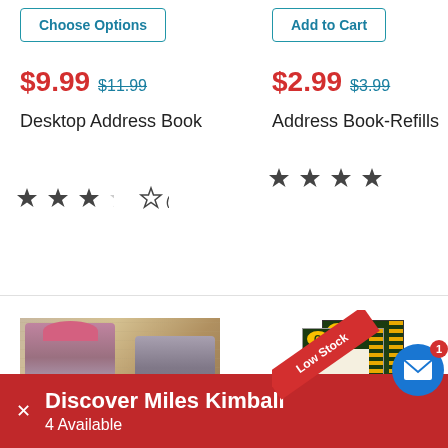Choose Options
Add to Cart
$9.99 $11.99
Desktop Address Book
★★★½☆ (182)
$2.99 $3.99
Address Book-Refills
★★★★½ (85)
[Figure (photo): Retro illustration of two women in 1950s fashion]
[Figure (photo): Green Bay Packers lined notepad with Low Stock banner]
Discover Miles Kimball
4 Available